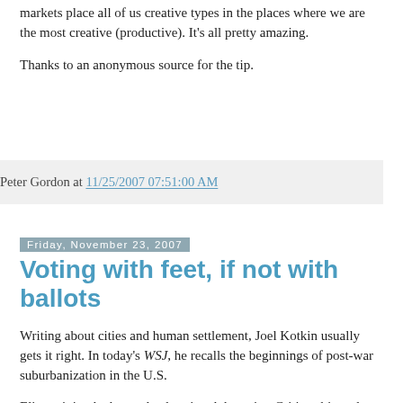markets place all of us creative types in the places where we are the most creative (productive). It's all pretty amazing.
Thanks to an anonymous source for the tip.
Peter Gordon at 11/25/2007 07:51:00 AM
Friday, November 23, 2007
Voting with feet, if not with ballots
Writing about cities and human settlement, Joel Kotkin usually gets it right. In today's WSJ, he recalls the beginnings of post-war suburbanization in the U.S.
Elite opinion had completely missed the point. Critics objected how large numbers of people were able to dramatically improve their lives on the wings of entrepreneurial discovery, in this case by the Levitt's and their followers.
Interestingly, little has changed. The pseudo-science of